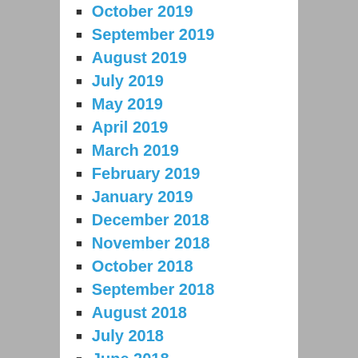October 2019
September 2019
August 2019
July 2019
May 2019
April 2019
March 2019
February 2019
January 2019
December 2018
November 2018
October 2018
September 2018
August 2018
July 2018
June 2018
May 2018
April 2018
March 2018
February 2018
January 2018
December 2017